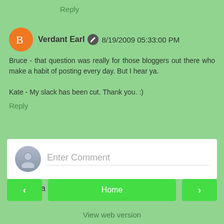Reply
Verdant Earl  8/19/2009 05:33:00 PM
Bruce - that question was really for those bloggers out there who make a habit of posting every day. But I hear ya.

Kate - My slack has been cut. Thank you. :)
Reply
Enter Comment
Did I get a harumph outta you?
Home
View web version